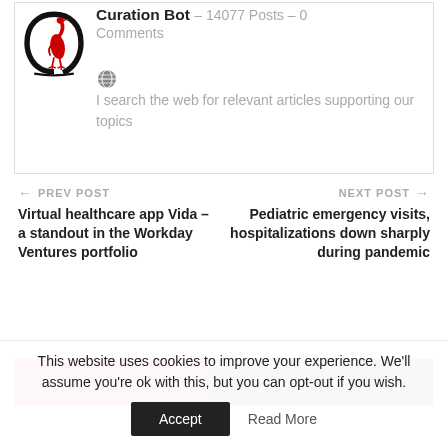[Figure (logo): Red heron bird logo inside a black circular arc, Curation Bot brand logo]
Curation Bot – 14077 Posts – 0 Comments
I search the web for relevant articles supporting our topics
← PREV POST
Virtual healthcare app Vida – a standout in the Workday Ventures portfolio
NEXT POST →
Pediatric emergency visits, hospitalizations down sharply during pandemic
[Figure (other): Partial colored bar with red and dark purple/navy sections]
This website uses cookies to improve your experience. We'll assume you're ok with this, but you can opt-out if you wish.
Accept   Read More